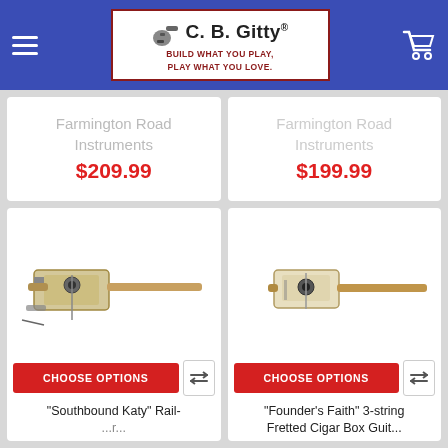[Figure (logo): C. B. Gitty logo with text 'BUILD WHAT YOU PLAY. PLAY WHAT YOU LOVE.']
Farmington Road Instruments
$209.99
Farmington Road Instruments
$199.99
[Figure (photo): 'Southbound Katy' Rail-guitar with wooden neck and metal body]
[Figure (photo): 'Founder's Faith' 3-string Fretted Cigar Box Guitar]
CHOOSE OPTIONS
CHOOSE OPTIONS
"Southbound Katy" Rail-...
"Founder's Faith" 3-string Fretted Cigar Box Guit...